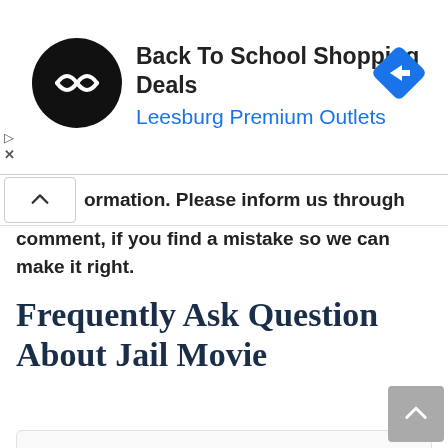[Figure (screenshot): Advertisement banner for Back To School Shopping Deals at Leesburg Premium Outlets, with black circular logo with double arrow icon and blue diamond navigation icon on the right. Below the ad, play and close (X) icons appear on the left.]
ormation. Please inform us through comment, if you find a mistake so we can make it right.
Frequently Ask Question About Jail Movie
1) Is Jail on Amazon Prime Video?
Amazon Prime Video does not have a copy of Jail in its inventory at this time. In January 2022, it's available on Amazon Prime Video